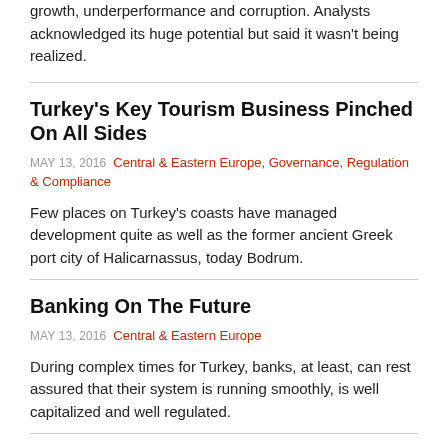growth, underperformance and corruption. Analysts acknowledged its huge potential but said it wasn't being realized.
Turkey's Key Tourism Business Pinched On All Sides
MAY 13, 2016  Central & Eastern Europe, Governance, Regulation & Compliance
Few places on Turkey's coasts have managed development quite as well as the former ancient Greek port city of Halicarnassus, today Bodrum.
Banking On The Future
MAY 13, 2016  Central & Eastern Europe
During complex times for Turkey, banks, at least, can rest assured that their system is running smoothly, is well capitalized and well regulated.
Fractured Election Results Cast Doubt Over PM's